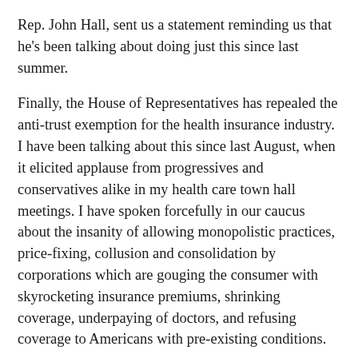Rep. John Hall, sent us a statement reminding us that he's been talking about doing just this since last summer.
Finally, the House of Representatives has repealed the anti-trust exemption for the health insurance industry. I have been talking about this since last August, when it elicited applause from progressives and conservatives alike in my health care town hall meetings. I have spoken forcefully in our caucus about the insanity of allowing monopolistic practices, price-fixing, collusion and consolidation by corporations which are gouging the consumer with skyrocketing insurance premiums, shrinking coverage, underpaying of doctors, and refusing coverage to Americans with pre-existing conditions.
Today, we finally got a debate and a vote on this first, clear issue pertaining to health care reform. Competition is key in driving down costs for families and small businesses. Monopolies kill competition. I have not heard a credible